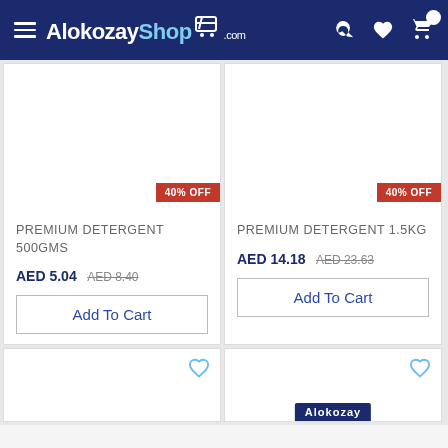AlokozayShop.com
[Figure (screenshot): Product card: PREMIUM DETERGENT 500GMS, 40% OFF badge, AED 5.04 (was AED 8.40), Add To Cart button]
[Figure (screenshot): Product card: PREMIUM DETERGENT 1.5KG, 40% OFF badge, AED 14.18 (was AED 23.63), Add To Cart button]
[Figure (screenshot): Partial product card bottom row left, with heart wishlist icon]
[Figure (screenshot): Partial product card bottom row right, Alokozay branded package visible, with heart wishlist icon]